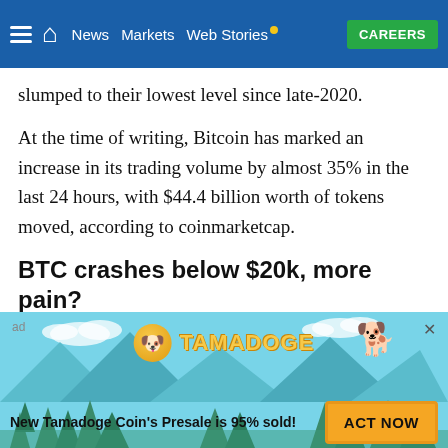News | Markets | Web Stories | CAREERS
slumped to their lowest level since late-2020.
At the time of writing, Bitcoin has marked an increase in its trading volume by almost 35% in the last 24 hours, with $44.4 billion worth of tokens moved, according to coinmarketcap.
BTC crashes below $20k, more pain?
On Saturday, the crypto market experienced a massive fall in the prices of its leading token.
[Figure (infographic): Tamadoge advertisement banner with logo, dog mascot, and 'New Tamadoge Coin's Presale is 95% sold!' text with ACT NOW button]